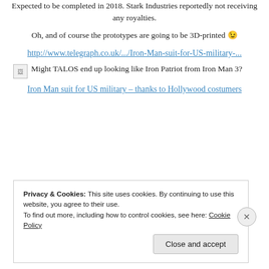Expected to be completed in 2018. Stark Industries reportedly not receiving any royalties.
Oh, and of course the prototypes are going to be 3D-printed 😉
http://www.telegraph.co.uk/.../Iron-Man-suit-for-US-military-...
[Figure (photo): Broken image placeholder with caption: Might TALOS end up looking like Iron Patriot from Iron Man 3?]
Might TALOS end up looking like Iron Patriot from Iron Man 3?
Iron Man suit for US military – thanks to Hollywood costumers
Privacy & Cookies: This site uses cookies. By continuing to use this website, you agree to their use.
To find out more, including how to control cookies, see here: Cookie Policy